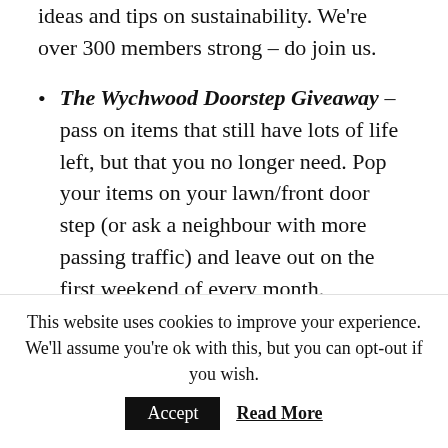ideas and tips on sustainability. We're over 300 members strong – do join us.
The Wychwood Doorstep Giveaway – pass on items that still have lots of life left, but that you no longer need. Pop your items on your lawn/front door step (or ask a neighbour with more passing traffic) and leave out on the first weekend of every month.
Supporting the Blue Heart Campaign this summer. Leave a patch of your lawn wild to
This website uses cookies to improve your experience. We'll assume you're ok with this, but you can opt-out if you wish.
Accept   Read More